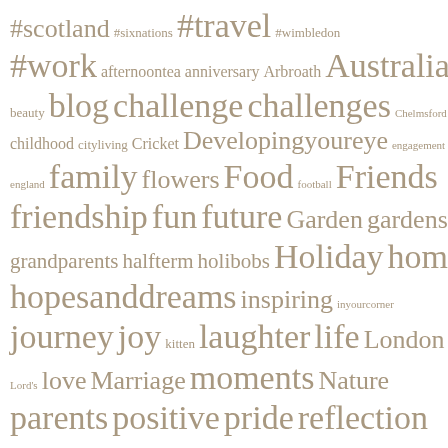[Figure (infographic): Word cloud containing tags/keywords in varying font sizes, all in a tan/beige color on white background. Words include: #scotland, #sixnations, #travel, #wimbledon, #work, afternoontea, anniversary, Arbroath, Australia, beauty, blog, challenge, challenges, Chelmsford, childhood, cityliving, Cricket, Developingyoureye, engagement, england, family, flowers, Food, football, Friends, friendship, fun, future, Garden, gardens, grandparents, halfterm, holibobs, Holiday, home, hopesanddreams, inspiring, inyourcorner, journey, joy, kitten, laughter, life, London, Lord's, love, Marriage, moments, Nature, parents, positive, pride, reflection]